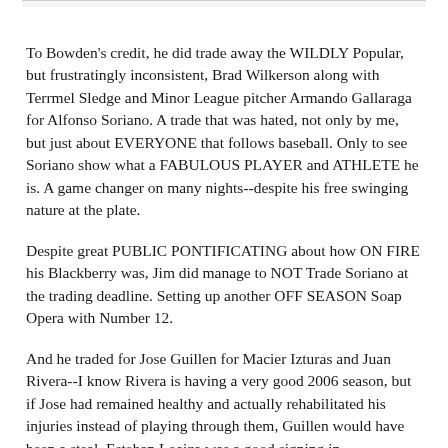To Bowden's credit, he did trade away the WILDLY Popular, but frustratingly inconsistent, Brad Wilkerson along with Terrmel Sledge and Minor League pitcher Armando Gallaraga for Alfonso Soriano. A trade that was hated, not only by me, but just about EVERYONE that follows baseball. Only to see Soriano show what a FABULOUS PLAYER and ATHLETE he is. A game changer on many nights--despite his free swinging nature at the plate.
Despite great PUBLIC PONTIFICATING about how ON FIRE his Blackberry was, Jim did manage to NOT Trade Soriano at the trading deadline. Setting up another OFF SEASON Soap Opera with Number 12.
And he traded for Jose Guillen for Macier Izturas and Juan Rivera--I know Rivera is having a very good 2006 season, but if Jose had remained healthy and actually rehabilitated his injuries instead of playing through them, Guillen would have been a steal. Esteban Loaiza was a good signing in